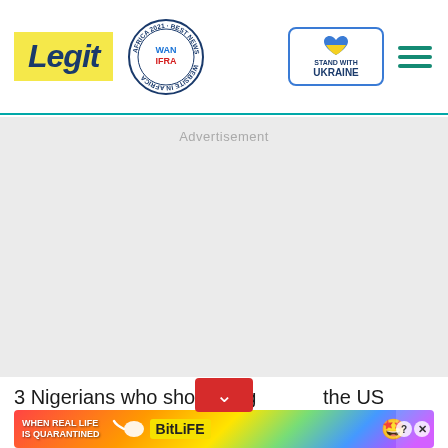Legit | WAN-IFRA 2021 Best News Website in Africa | Stand with Ukraine
Advertisement
3 Nigerians who shone brig... the US elections | - on
[Figure (screenshot): BitLife advertisement banner: 'WHEN REAL LIFE IS QUARANTINED' with sperm icon and BitLife logo, emoji characters, and close/info buttons]